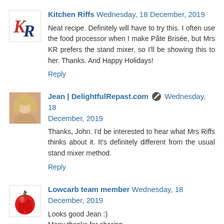[Figure (illustration): Kitchen Riffs blog avatar with stylized KR letters in red and blue script]
Kitchen Riffs Wednesday, 18 December, 2019
Neat recipe. Definitely will have to try this. I often use the food processor when I make Pâte Brisée, but Mrs KR prefers the stand mixer, so I'll be showing this to her. Thanks. And Happy Holidays!
Reply
[Figure (photo): Profile photo of a woman with blonde hair]
Jean | DelightfulRepast.com Wednesday, 18 December, 2019
Thanks, John. I'd be interested to hear what Mrs Riffs thinks about it. It's definitely different from the usual stand mixer method.
Reply
[Figure (illustration): Red bell pepper icon used as avatar for Lowcarb team member]
Lowcarb team member Wednesday, 18 December, 2019
Looks good Jean :)
Many thanks for sharing.